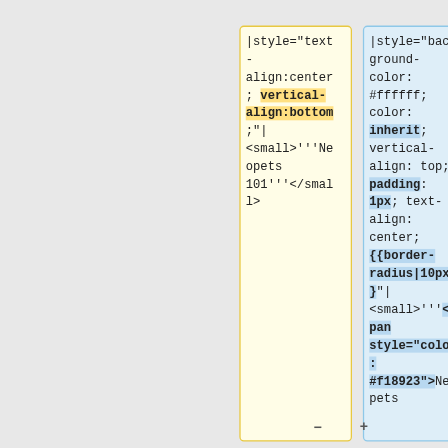[Figure (screenshot): A diff/comparison view showing two code panels side by side. Left panel (yellow background) shows wiki markup with '|style="text-align:center; vertical-align:bottom;"| <small>'''Neopets 101'''</small>'. Right panel (blue background) shows wiki markup with '|style="background-color:#ffffff; color:inherit; vertical-align: top; padding:1px; text-align:center; {{border-radius|10px}}"| <small>'''<span style="color:#f18923">Neopets' with bold highlighted terms. Minus and plus buttons appear at the bottom between panels.]